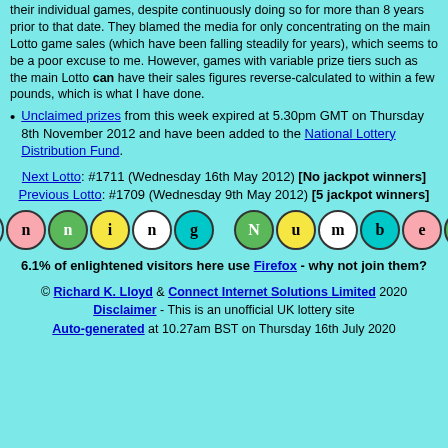their individual games, despite continuously doing so for more than 8 years prior to that date. They blamed the media for only concentrating on the main Lotto game sales (which have been falling steadily for years), which seems to be a poor excuse to me. However, games with variable prize tiers such as the main Lotto can have their sales figures reverse-calculated to within a few pounds, which is what I have done.
Unclaimed prizes from this week expired at 5.30pm GMT on Thursday 8th November 2012 and have been added to the National Lottery Distribution Fund.
Next Lotto: #1711 (Wednesday 16th May 2012) [No jackpot winners]
Previous Lotto: #1709 (Wednesday 9th May 2012) [5 jackpot winners]
[Figure (illustration): Winning Numbers decorative balls graphic with colorful letter balls spelling 'Winning Numbers']
6.1% of enlightened visitors here use Firefox - why not join them?
© Richard K. Lloyd & Connect Internet Solutions Limited 2020 Disclaimer - This is an unofficial UK lottery site Auto-generated at 10.27am BST on Thursday 16th July 2020